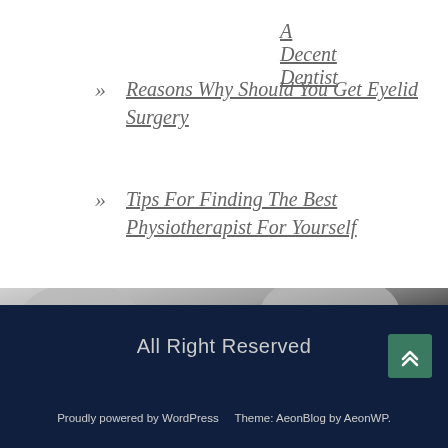A Decent Dentist
» Reasons Why Should You Get Eyelid Surgery
» Tips For Finding The Best Physiotherapist For Yourself
[Figure (photo): Black and white photo of people, partially visible, dark tones at bottom]
All Right Reserved
Proudly powered by WordPress   Theme: AeonBlog by AeonWP.